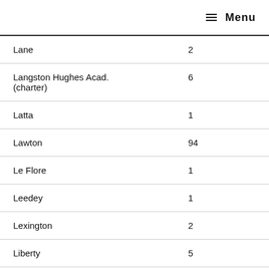≡ Menu
| Lane | 2 |
| Langston Hughes Acad. (charter) | 6 |
| Latta | 1 |
| Lawton | 94 |
| Le Flore | 1 |
| Leedey | 1 |
| Lexington | 2 |
| Liberty | 5 |
| Lindsay | 2 |